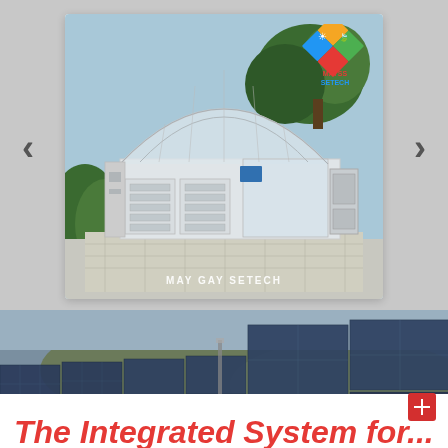[Figure (photo): Slideshow image of a greenhouse-type arched polycarbonate solar dryer structure labeled 'MAY GAY SETECH', with navigation arrows on either side. Logo in top-right corner of card showing colored diamond shapes with text 'MAYSS SETECH'.]
[Figure (photo): Background photo of solar panels in a field with hills in the background, partially visible beneath the slideshow card.]
The Integrated System for...